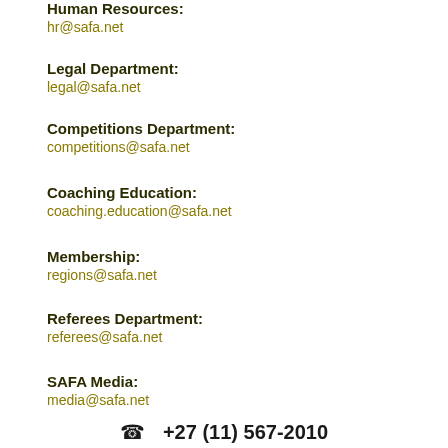Human Resources:
hr@safa.net
Legal Department:
legal@safa.net
Competitions Department:
competitions@safa.net
Coaching Education:
coaching.education@safa.net
Membership:
regions@safa.net
Referees Department:
referees@safa.net
SAFA Media:
media@safa.net
+27 (11) 567-2010